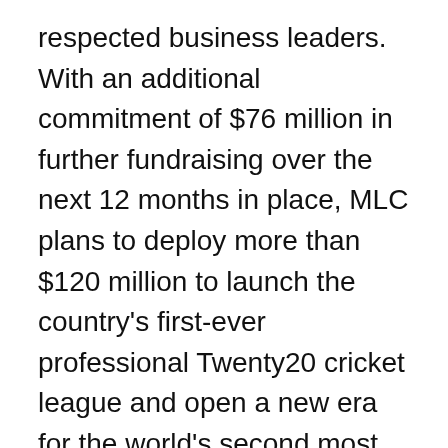respected business leaders. With an additional commitment of $76 million in further fundraising over the next 12 months in place, MLC plans to deploy more than $120 million to launch the country's first-ever professional Twenty20 cricket league and open a new era for the world's second most popular sport in the United States," said an official statement from MLC.
Investors groups for Series A and A1 fundraising round, which includes MLC's seed funding round, were led by: Satya Nadella (CEO of Microsoft) and Soma